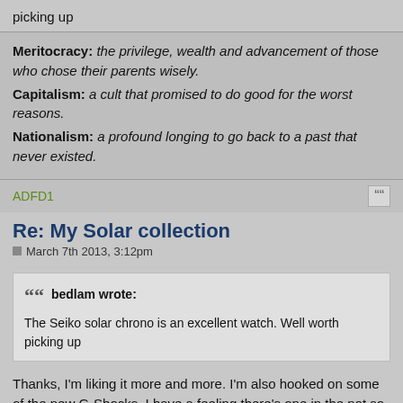picking up
Meritocracy: the privilege, wealth and advancement of those who chose their parents wisely. Capitalism: a cult that promised to do good for the worst reasons. Nationalism: a profound longing to go back to a past that never existed.
ADFD1
Re: My Solar collection
March 7th 2013, 3:12pm
bedlam wrote: The Seiko solar chrono is an excellent watch. Well worth picking up
Thanks, I'm liking it more and more. I'm also hooked on some of the new G-Shocks, I have a feeling there's one in the not so distant future for me if the price is right.